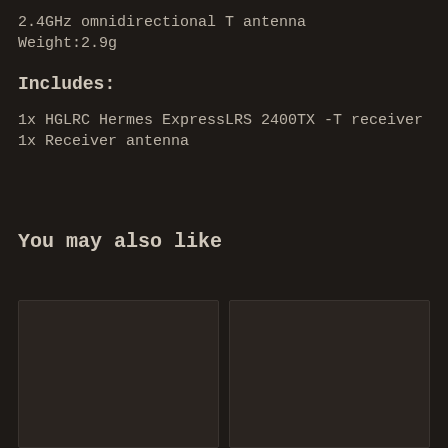2.4GHz omnidirectional T antenna
Weight:2.9g
Includes:
1x HGLRC Hermes ExpressLRS 2400TX -T receiver
1x Receiver antenna
You may also like
[Figure (photo): Product card placeholder left]
[Figure (photo): Product card placeholder right]